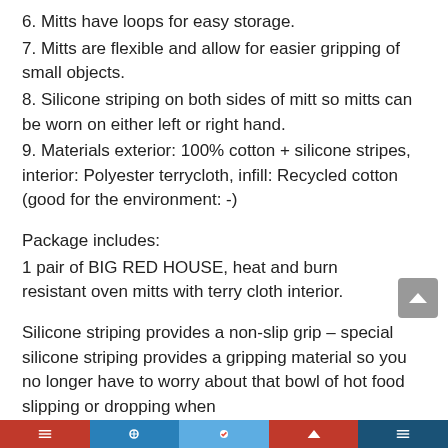6. Mitts have loops for easy storage.
7. Mitts are flexible and allow for easier gripping of small objects.
8. Silicone striping on both sides of mitt so mitts can be worn on either left or right hand.
9. Materials exterior: 100% cotton + silicone stripes, interior: Polyester terrycloth, infill: Recycled cotton (good for the environment: -)
Package includes:
1 pair of BIG RED HOUSE, heat and burn resistant oven mitts with terry cloth interior.
Silicone striping provides a non-slip grip – special silicone striping provides a gripping material so you no longer have to worry about that bowl of hot food slipping or dropping when